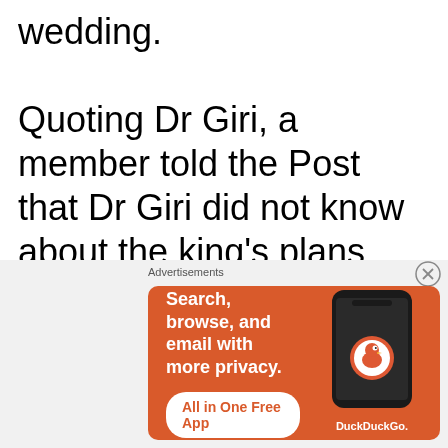wedding.

Quoting Dr Giri, a member told the Post that Dr Giri did not know about the king's plans when he met the king at the time. The king asked him to stay on in Nepal for some time. Latter he learnt why the king wanted him not to leave the
Advertisements
[Figure (screenshot): DuckDuckGo advertisement banner on orange/red background. Text reads: Search, browse, and email with more privacy. All in One Free App. Shows a phone with DuckDuckGo logo and brand name.]